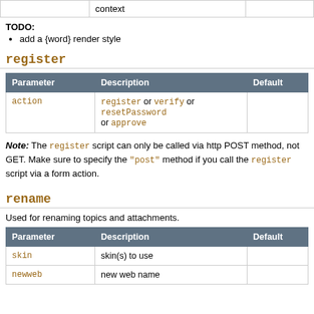|  | context |  |
| --- | --- | --- |
TODO:
add a {word} render style
register
| Parameter | Description | Default |
| --- | --- | --- |
| action | register or verify or resetPassword or approve |  |
Note: The register script can only be called via http POST method, not GET. Make sure to specify the "post" method if you call the register script via a form action.
rename
Used for renaming topics and attachments.
| Parameter | Description | Default |
| --- | --- | --- |
| skin | skin(s) to use |  |
| newweb | new web name |  |